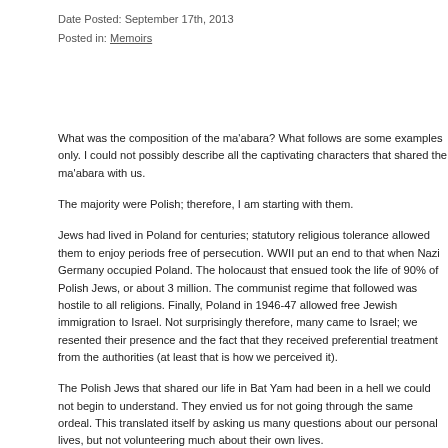Date Posted: September 17th, 2013
Posted in: Memoirs
What was the composition of the ma'abara?  What follows are some examples only.  I could not possibly describe all the captivating characters that shared the ma'abara with us.
The majority were Polish; therefore, I am starting with them.
Jews had lived in Poland for centuries; statutory religious tolerance allowed them to enjoy periods free of persecution.  WWII put an end to that when Nazi Germany occupied Poland. The holocaust that ensued took the life of 90% of Polish Jews, or about 3 million.  The communist regime that followed was hostile to all religions.  Finally, Poland in 1946-47 allowed free Jewish immigration to Israel. Not surprisingly therefore, many came to Israel; we resented their presence and the fact that they received preferential treatment from the authorities (at least that is how we perceived it).
The Polish Jews that shared our life in Bat Yam had been in a hell we could not begin to understand.  They envied us for not going through the same ordeal.  This translated itself by asking us many questions about our personal lives, but not volunteering much about their own lives.
Today I can finally see the light.  They wanted to know what it is to live under normal conditions and, accordingly, peppered us with questions.  They could not reciprocate for the suffering they went through cannot be put into words.  Is there a language that can describe how it is to live under the shadow of death for many years?
I do not want to leave the reader with the impression that there was open hostility, such was not the case.  Ultimately, we were all on the same boat and relations were amicable.
* * *
There were some Egyptian families, and, of course, we befriended them.  Not far from